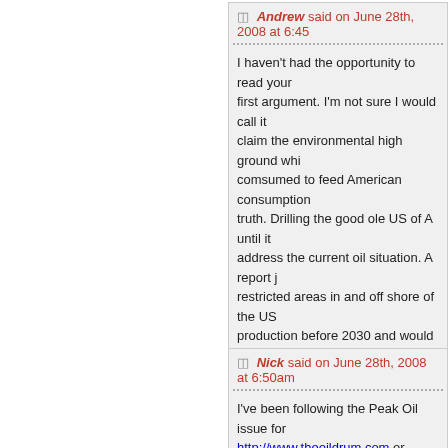Andrew said on June 28th, 2008 at 6:45
I haven't had the opportunity to read your first argument. I'm not sure I would call it claim the environmental high ground whi comsumed to feed American consumption truth. Drilling the good ole US of A until i address the current oil situation. A report j restricted areas in and off shore of the US production before 2030 and would have no or Peak debunker, today's situation is not b anyone is to hope for the best and prepare hope and certainly won't prepare you for t
Nick said on June 28th, 2008 at 6:50am
I've been following the Peak Oil issue for http://www.theoildrum.com or http://www it. I read your article thinking it might pro do I recognise the nasty picture you paint o most are NOT environmentalists. In fact m as environmentalists think, like you, that P